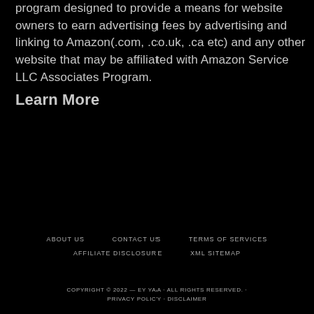program designed to provide a means for website owners to earn advertising fees by advertising and linking to Amazon(.com, .co.uk, .ca etc) and any other website that may be affiliated with Amazon Service LLC Associates Program. Learn More
ABOUT US   CONTACT US   TERMS OF SERVICES   AFFILIATE DISCLOSURE   XML SITEMAP   COPYRIGHT © 2022 — EY YAA · ALL RIGHTS RESERVED. · PRIVACY POLICY · DISCLAIMER